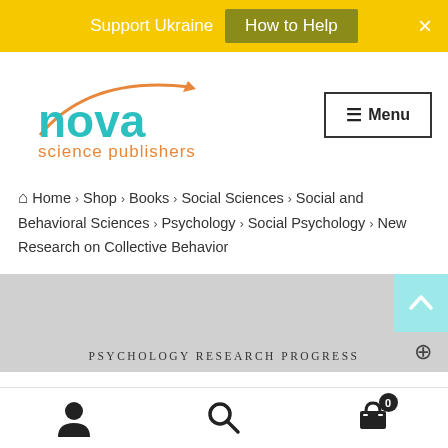Support Ukraine  How to Help  ×
[Figure (logo): Nova Science Publishers logo with orange arrow and teal text]
≡ Menu
Home > Shop > Books > Social Sciences > Social and Behavioral Sciences > Psychology > Social Psychology > New Research on Collective Behavior
[Figure (screenshot): Book cover image area with 'Psychology Research Progress' label and zoom icon]
Bottom navigation: user icon, search icon, cart icon with badge 0